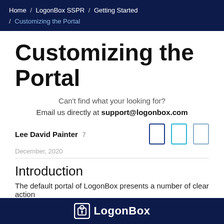Home / LogonBox SSPR / Getting Started / Customizing the Portal
Customizing the Portal
Can't find what your looking for?
Email us directly at support@logonbox.com
Lee David Painter 7
December, 2020
Introduction
The default portal of LogonBox presents a number of clear action
LogonBox